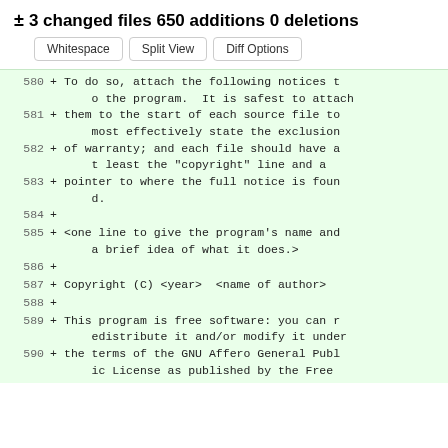± 3 changed files 650 additions 0 deletions
Whitespace | Split View | Diff Options
[Figure (screenshot): Code diff view showing added lines 580-590 from a software license file (GNU Affero General Public License). Lines show text about attaching notices to programs, copyright, and free software redistribution terms. All lines are additions (marked with +) on a green background.]